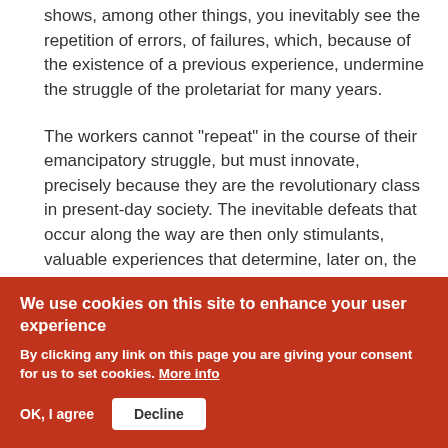shows, among other things, you inevitably see the repetition of errors, of failures, which, because of the existence of a previous experience, undermine the struggle of the proletariat for many years.
The workers cannot "repeat" in the course of their emancipatory struggle, but must innovate, precisely because they are the revolutionary class in present-day society. The inevitable defeats that occur along the way are then only stimulants, valuable experiences that determine, later on, the victorious development of the...
We use cookies on this site to enhance your user experience
By clicking any link on this page you are giving your consent for us to set cookies. More info
OK, I agree
Decline